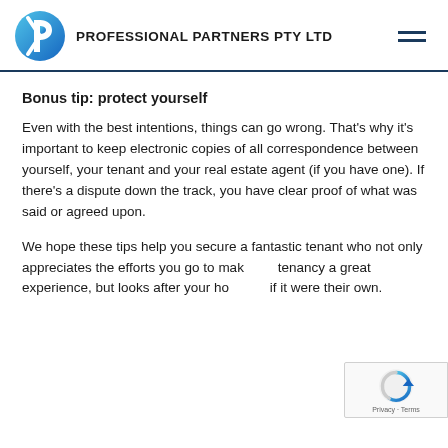PROFESSIONAL PARTNERS PTY LTD
Bonus tip: protect yourself
Even with the best intentions, things can go wrong. That's why it's important to keep electronic copies of all correspondence between yourself, your tenant and your real estate agent (if you have one). If there's a dispute down the track, you have clear proof of what was said or agreed upon.
We hope these tips help you secure a fantastic tenant who not only appreciates the efforts you go to make the tenancy a great experience, but looks after your home as if it were their own.